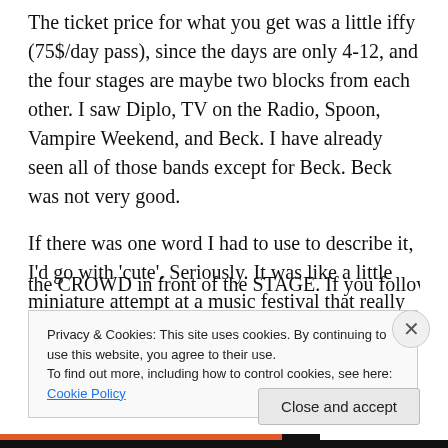The ticket price for what you get was a little iffy (75$/day pass), since the days are only 4-12, and the four stages are maybe two blocks from each other. I saw Diplo, TV on the Radio, Spoon, Vampire Weekend, and Beck. I have already seen all of those bands except for Beck. Beck was not very good.
If there was one word I had to use to describe it, I'd go with 'cute'. Seriously. It was like a little miniature attempt at a music festival that really turned out more like a block party.The one great feature was a beer garden portion of the CROWD in front of the STAGE. If you follow anything...
Privacy & Cookies: This site uses cookies. By continuing to use this website, you agree to their use.
To find out more, including how to control cookies, see here: Cookie Policy